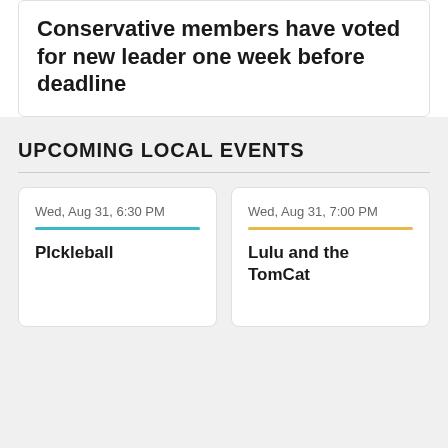Conservative members have voted for new leader one week before deadline
UPCOMING LOCAL EVENTS
Wed, Aug 31, 6:30 PM
PIckleball
Wed, Aug 31, 7:00 PM
Lulu and the TomCat